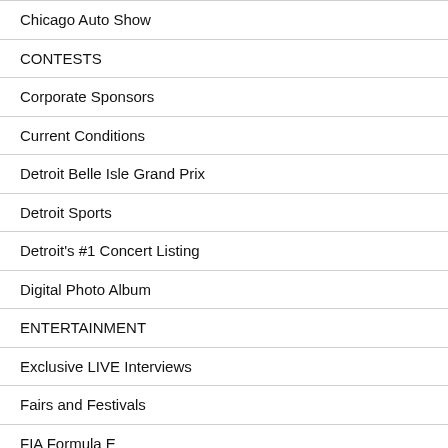Chicago Auto Show
CONTESTS
Corporate Sponsors
Current Conditions
Detroit Belle Isle Grand Prix
Detroit Sports
Detroit's #1 Concert Listing
Digital Photo Album
ENTERTAINMENT
Exclusive LIVE Interviews
Fairs and Festivals
FIA Formula E
Friday's New CD Album Releases